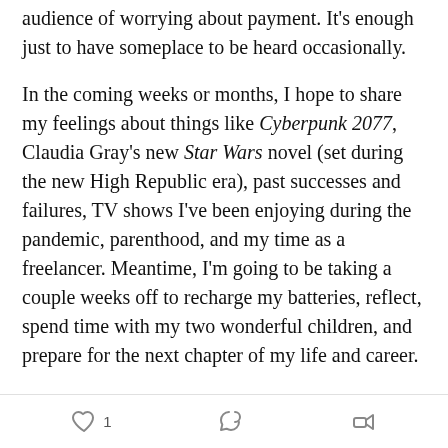audience of worrying about payment. It's enough just to have someplace to be heard occasionally.
In the coming weeks or months, I hope to share my feelings about things like Cyberpunk 2077, Claudia Gray's new Star Wars novel (set during the new High Republic era), past successes and failures, TV shows I've been enjoying during the pandemic, parenthood, and my time as a freelancer. Meantime, I'm going to be taking a couple weeks off to recharge my batteries, reflect, spend time with my two wonderful children, and prepare for the next chapter of my life and career.
You can catch me on the What the Force? podcast next week, chatting about the season-two finale of The Mandalorian. I'm thrilled to be joining Marie-Claire
♡ 1  💬  ➤